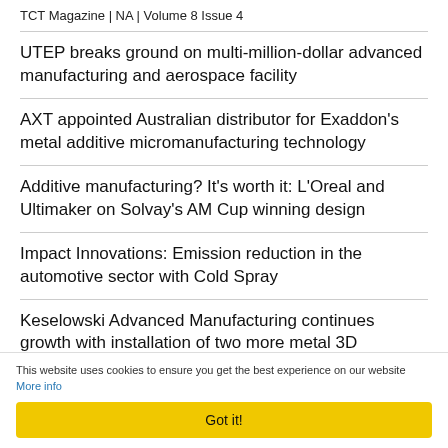TCT Magazine | NA | Volume 8 Issue 4
UTEP breaks ground on multi-million-dollar advanced manufacturing and aerospace facility
AXT appointed Australian distributor for Exaddon's metal additive micromanufacturing technology
Additive manufacturing? It's worth it: L'Oreal and Ultimaker on Solvay's AM Cup winning design
Impact Innovations: Emission reduction in the automotive sector with Cold Spray
Keselowski Advanced Manufacturing continues growth with installation of two more metal 3D
This website uses cookies to ensure you get the best experience on our website More info
Got it!